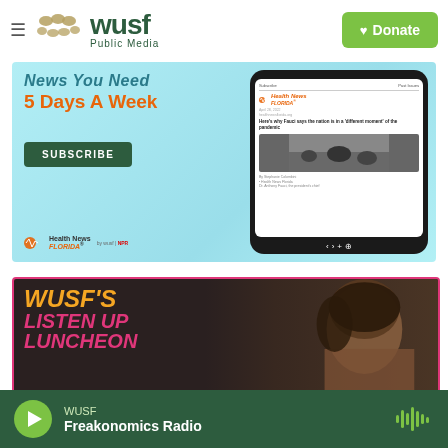WUSF Public Media — Donate
[Figure (screenshot): Health News Florida advertisement: 'News You Need 5 Days A Week' with SUBSCRIBE button and phone mockup showing Health News Florida newsletter]
[Figure (screenshot): WUSF's Listen Up Luncheon promotional banner with orange and pink text on dark background, woman's face on right]
WUSF — Freakonomics Radio (player bar)